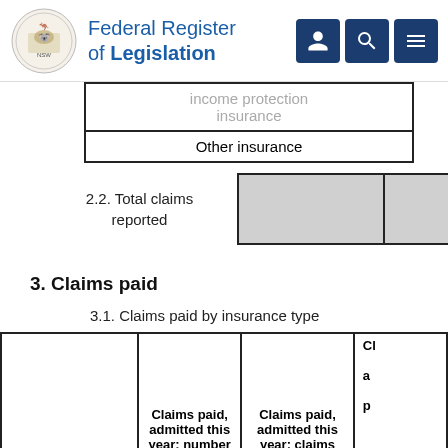Federal Register of Legislation
| income protection insurance | Other insurance |
| --- | --- |
| 2.2. Total claims reported |  |  |
| --- | --- | --- |
|  |  |  |
3. Claims paid
3.1. Claims paid by insurance type
|  | Claims paid, admitted this year: number | Claims paid, admitted this year: claims | Ch a p |
| --- | --- | --- | --- |